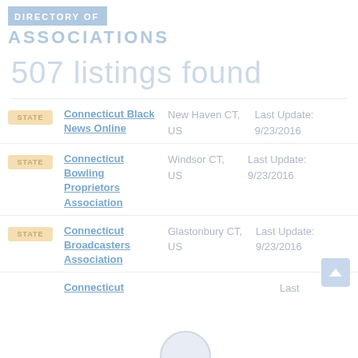DIRECTORY OF ASSOCIATIONS
507 listings found
Connecticut Black News Online | New Haven CT, US | Last Update: 9/23/2016
Connecticut Bowling Proprietors Association | Windsor CT, US | Last Update: 9/23/2016
Connecticut Broadcasters Association | Glastonbury CT, US | Last Update: 9/23/2016
Connecticut | Last